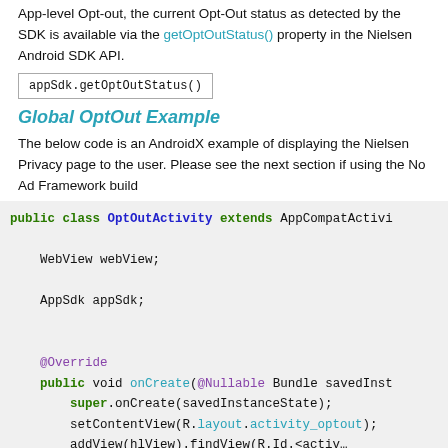App-level Opt-out, the current Opt-Out status as detected by the SDK is available via the getOptOutStatus() property in the Nielsen Android SDK API.
appSdk.getOptOutStatus()
Global OptOut Example
The below code is an AndroidX example of displaying the Nielsen Privacy page to the user. Please see the next section if using the No Ad Framework build
[Figure (screenshot): Java code block showing public class OptOutActivity extends AppCompatActivity with fields WebView webView, AppSdk appSdk, @Override annotation, public void onCreate(@Nullable Bundle savedInstanceState), super.onCreate(savedInstanceState), setContentView(R.layout.activity_optout), and a partial next line.]